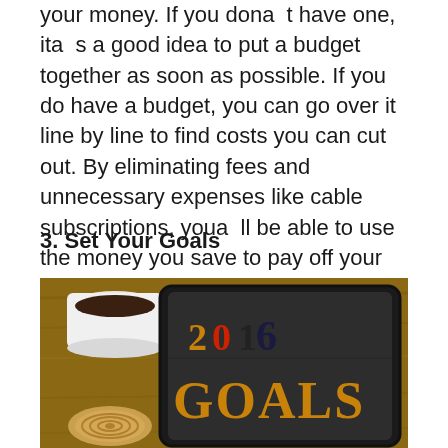your money. If you don’t have one, it’s a good idea to put a budget together as soon as possible. If you do have a budget, you can go over it line by line to find costs you can cut out. By eliminating fees and unnecessary expenses like cable subscriptions, you’ll be able to use the money you save to pay off your debt.
3. Set Your Goals
[Figure (photo): A tablet displaying '2016 GOALS' in large wooden letterpress type with orange and red coloring, placed on a wooden surface next to a white coffee cup and a round cookie/biscuit.]